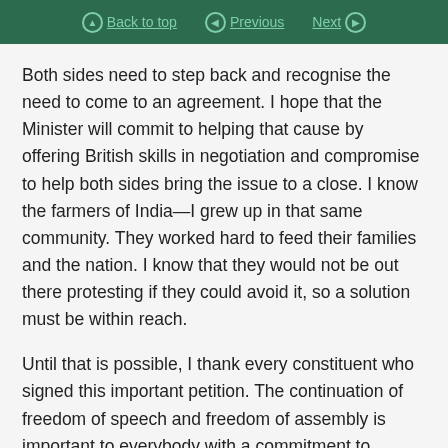Back to top  Previous  Next
Both sides need to step back and recognise the need to come to an agreement. I hope that the Minister will commit to helping that cause by offering British skills in negotiation and compromise to help both sides bring the issue to a close. I know the farmers of India—I grew up in that same community. They worked hard to feed their families and the nation. I know that they would not be out there protesting if they could avoid it, so a solution must be within reach.
Until that is possible, I thank every constituent who signed this important petition. The continuation of freedom of speech and freedom of assembly is important to everybody with a commitment to democracy. All those who are speaking today, all